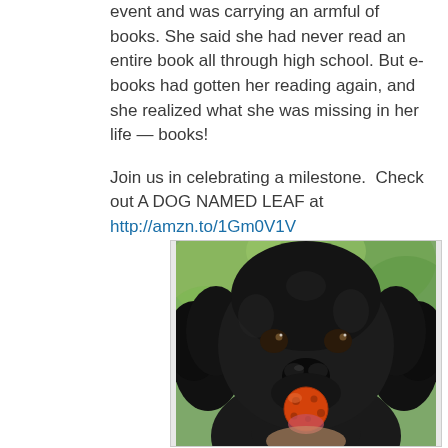event and was carrying an armful of books. She said she had never read an entire book all through high school. But e-books had gotten her reading again, and she realized what she was missing in her life — books!

Join us in celebrating a milestone.  Check out A DOG NAMED LEAF at http://amzn.to/1Gm0V1V
[Figure (photo): Close-up photo of a black cocker spaniel dog with curly fur holding an orange/red ball in its mouth, with green foliage blurred in the background.]